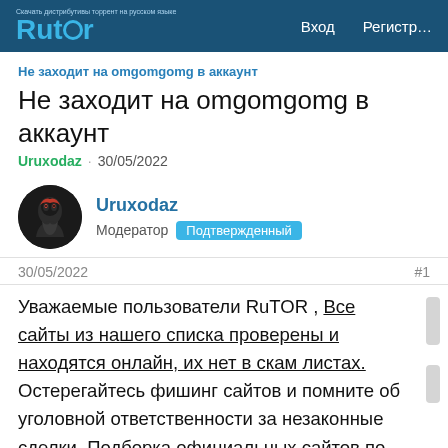Rutor  Вход  Регистр…
Не заходит на omgomgomg в аккаунт
Не заходит на omgomgomg в аккаунт
Uruxodaz · 30/05/2022
Uruxodaz
Модератор  Подтвержденный
30/05/2022  #1
Уважаемые пользователи RuTOR , Все сайты из нашего списка проверены и находятся онлайн, их нет в скам листах. Остерегайтесь фишинг сайтов и помните об уголовной ответственности за незаконные сделки. Подборка официальных сайтов по продаже веществ от форума Rutor носит исключительно информативный характер.